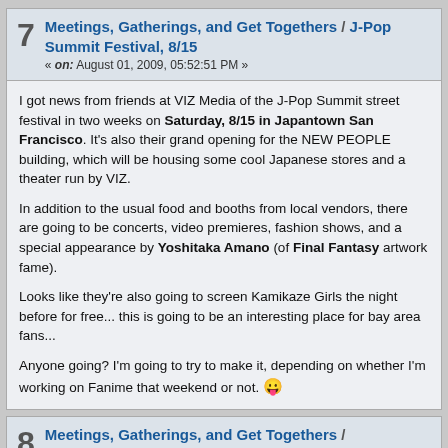7 Meetings, Gatherings, and Get Togethers / J-Pop Summit Festival, 8/15
« on: August 01, 2009, 05:52:51 PM »
I got news from friends at VIZ Media of the J-Pop Summit street festival in two weeks on Saturday, 8/15 in Japantown San Francisco. It's also their grand opening for the NEW PEOPLE building, which will be housing some cool Japanese stores and a theater run by VIZ.

In addition to the usual food and booths from local vendors, there are going to be concerts, video premieres, fashion shows, and a special appearance by Yoshitaka Amano (of Final Fantasy artwork fame).

Looks like they're also going to screen Kamikaze Girls the night before for free... this is going to be an interesting place for bay area fans...

Anyone going? I'm going to try to make it, depending on whether I'm working on Fanime that weekend or not. 😛
8 Meetings, Gatherings, and Get Togethers / FanimeCon Kick-off BBQ
« on: September 19, 2008, 11:01:26 AM »
FanimeCon is hosting a kick-off BBQ to welcome back staff and welcome in anyone interested in joining our ranks! That's right, I've made the daring decision of opening this to the public!